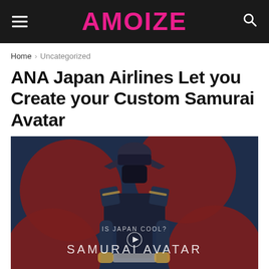AMOIZE
Home > Uncategorized
ANA Japan Airlines Let you Create your Custom Samurai Avatar
[Figure (photo): A samurai avatar in dark blue armor standing against a navy blue background with large dark red/maroon circular shapes. Text overlay reads 'IS JAPAN COOL?' and 'SAMURAI AVATAR' with a play button in the center.]